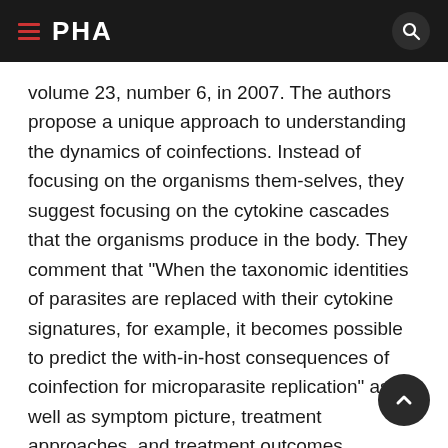PHA
volume 23, number 6, in 2007. The authors propose a unique approach to understanding the dynamics of coinfections. Instead of focusing on the organisms them-selves, they suggest focusing on the cytokine cascades that the organisms produce in the body. They comment that "When the taxonomic identities of parasites are replaced with their cytokine signatures, for example, it becomes possible to predict the with-in-host consequences of coinfection for microparasite replication" as well as symptom picture, treatment approaches, and treatment outcomes.